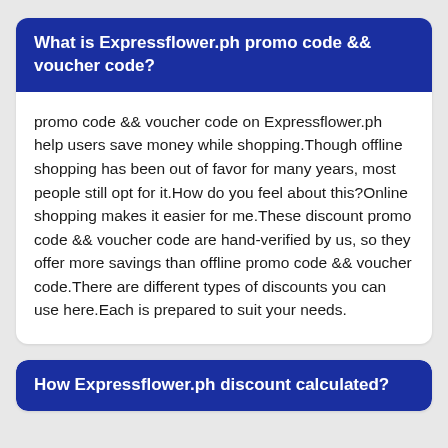What is Expressflower.ph promo code && voucher code?
promo code && voucher code on Expressflower.ph help users save money while shopping.Though offline shopping has been out of favor for many years, most people still opt for it.How do you feel about this?Online shopping makes it easier for me.These discount promo code && voucher code are hand-verified by us, so they offer more savings than offline promo code && voucher code.There are different types of discounts you can use here.Each is prepared to suit your needs.
How Expressflower.ph discount calculated?